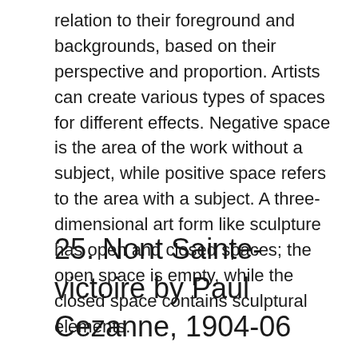relation to their foreground and backgrounds, based on their perspective and proportion. Artists can create various types of spaces for different effects. Negative space is the area of the work without a subject, while positive space refers to the area with a subject. A three-dimensional art form like sculpture has open and closed spaces; the open space is empty, while the closed space contains sculptural elements.
25. Nont Sainte-victoire by Paul Cezanne, 1904-06